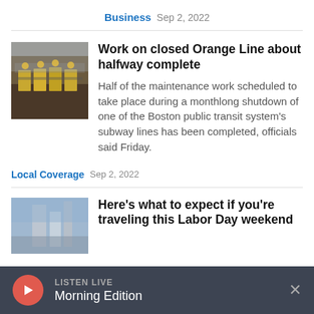Business  Sep 2, 2022
Work on closed Orange Line about halfway complete
Half of the maintenance work scheduled to take place during a monthlong shutdown of one of the Boston public transit system's subway lines has been completed, officials said Friday.
Local Coverage  Sep 2, 2022
Here's what to expect if you're traveling this Labor Day weekend
LISTEN LIVE  Morning Edition